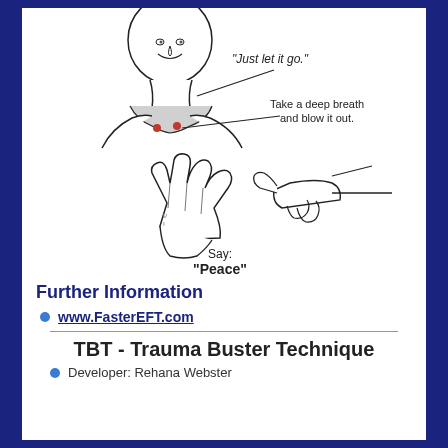[Figure (illustration): Medical/wellness illustration showing a man's face and upper chest with two red dots on the collarbone area. Callout lines point to the dots with text 'Just let it go.' and 'Take a deep breath and blow it out.' Below is a drawing of two hands — one open palm and one gripping the wrist — with the label 'Say: "Peace"' beneath.]
Further Information
www.FasterEFT.com
TBT - Trauma Buster Technique
Developer: Rehana Webster